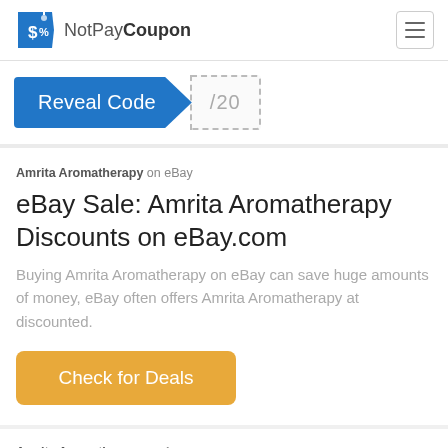[Figure (logo): NotPayCoupon logo with a blue price tag icon containing a dollar sign and percent symbol, followed by the text NotPayCoupon]
Reveal Code /20
Amrita Aromatherapy on eBay
eBay Sale: Amrita Aromatherapy Discounts on eBay.com
Buying Amrita Aromatherapy on eBay can save huge amounts of money, eBay often offers Amrita Aromatherapy at discounted.
Check for Deals
Amrita Aromatherapy on Amazon